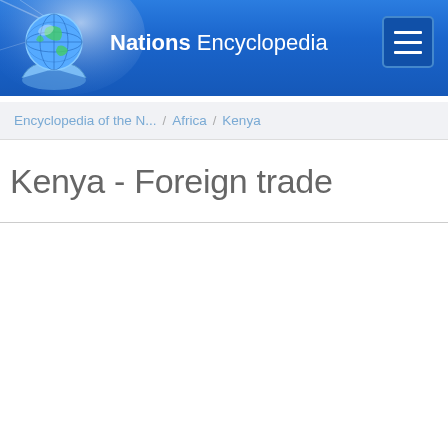Nations Encyclopedia
Encyclopedia of the N... / Africa / Kenya
Kenya - Foreign trade